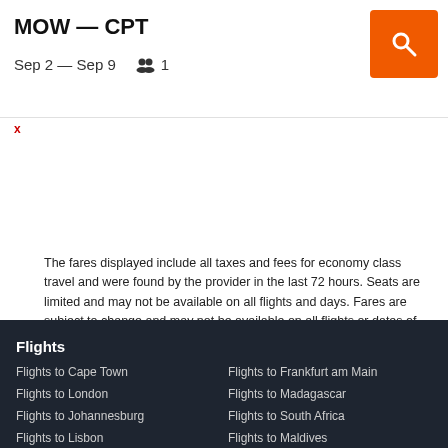MOW — CPT
Sep 2 — Sep 9   👥 1
The fares displayed include all taxes and fees for economy class travel and were found by the provider in the last 72 hours. Seats are limited and may not be available on all flights and days. Fares are subject to change and may not be available on all flights or dates of travel. Some carriers charge additional fees for extra checked bags. Please check the carriers' sites.
Flights
Flights to Cape Town
Flights to Frankfurt am Main
Flights to London
Flights to Madagascar
Flights to Johannesburg
Flights to South Africa
Flights to Lisbon
Flights to Maldives